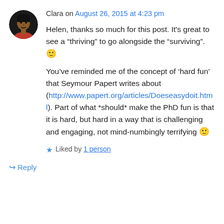Clara on August 26, 2015 at 4:23 pm
Helen, thanks so much for this post. It's great to see a “thriving” to go alongside the “surviving”. 🙂
You’ve reminded me of the concept of ‘hard fun’ that Seymour Papert writes about (http://www.papert.org/articles/Doeseasydoit.html). Part of what *should* make the PhD fun is that it is hard, but hard in a way that is challenging and engaging, not mind-numbingly terrifying 🙂
★ Liked by 1 person
↪ Reply